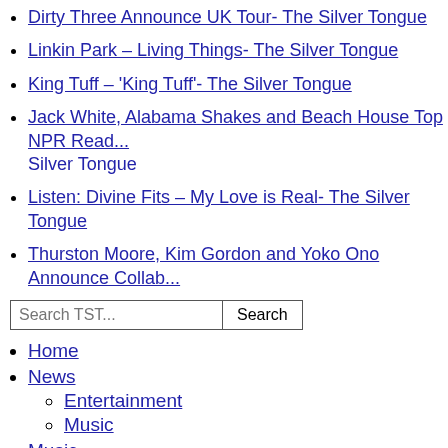Dirty Three Announce UK Tour- The Silver Tongue
Linkin Park – Living Things- The Silver Tongue
King Tuff – 'King Tuff'- The Silver Tongue
Jack White, Alabama Shakes and Beach House Top NPR Read... Silver Tongue
Listen: Divine Fits – My Love is Real- The Silver Tongue
Thurston Moore, Kim Gordon and Yoko Ono Announce Collab...
Search TST...
Home
News
Entertainment
Music
Music
Hear It First
Downloads
Festivals
Staff Picks
Podcast
Features
Interviews